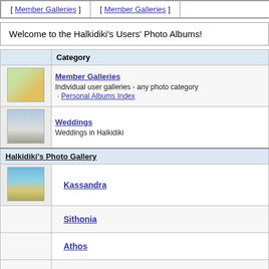| [ Member Galleries ] | [ Member Galleries ] |  |
| --- | --- | --- |
Welcome to the Halkidiki's Users' Photo Albums!
|  | Category |
| --- | --- |
| [flower image] | Member Galleries
Individual user galleries - any photo category
· Personal Albums Index |
| [gate image] | Weddings
Weddings in Halkidiki |
| Halkidiki's Photo Gallery |  |
| [beach image] | Kassandra |
|  | Sithonia |
|  | Athos |
|  | Mainland - Other |